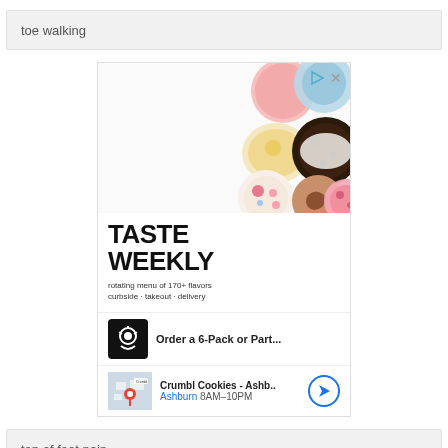toe walking
[Figure (screenshot): Advertisement for Crumbl Cookies 'Taste Weekly' showing rotating menu of 170+ flavors, curbside, takeout, delivery. CTA: Order a 6-Pack or Part... Location: Crumbl Cookies - Ashb.. Ashburn 8AM-10PM]
top of foot pain
total contact casting